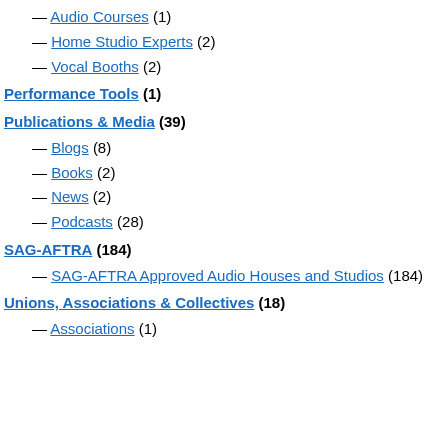— Audio Courses (1)
— Home Studio Experts (2)
— Vocal Booths (2)
Performance Tools (1)
Publications & Media (39)
— Blogs (8)
— Books (2)
— News (2)
— Podcasts (28)
SAG-AFTRA (184)
— SAG-AFTRA Approved Audio Houses and Studios (184)
Unions, Associations & Collectives (18)
— Associations (1)